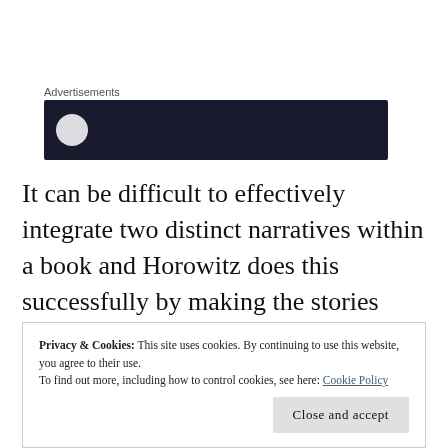Advertisements
[Figure (other): Advertisement banner block with dark navy background and a white circle element on the left side.]
It can be difficult to effectively integrate two distinct narratives within a book and Horowitz does this successfully by making the stories different in tone and style. At first reluctant to leave the London ouvre of Susan Ryland, I became engrossed in the
Privacy & Cookies: This site uses cookies. By continuing to use this website, you agree to their use.
To find out more, including how to control cookies, see here: Cookie Policy
Close and accept